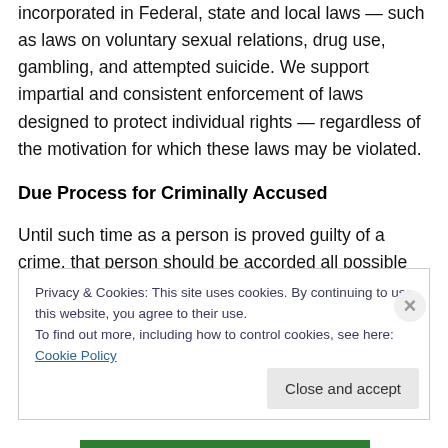incorporated in Federal, state and local laws — such as laws on voluntary sexual relations, drug use, gambling, and attempted suicide. We support impartial and consistent enforcement of laws designed to protect individual rights — regardless of the motivation for which these laws may be violated.
Due Process for Criminally Accused
Until such time as a person is proved guilty of a crime, that person should be accorded all possible respect for his
Privacy & Cookies: This site uses cookies. By continuing to use this website, you agree to their use.
To find out more, including how to control cookies, see here: Cookie Policy